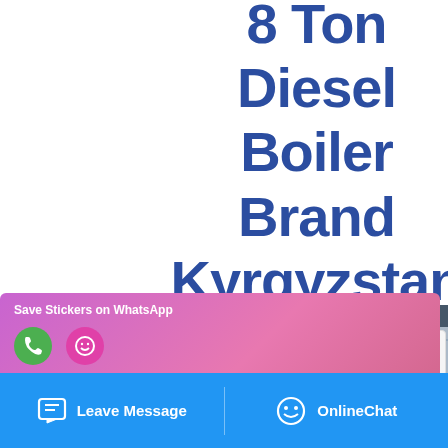8 Ton Diesel Boiler Brand Kyrgyzstan
[Figure (photo): Industrial diesel boiler unit, white and blue rectangular cabinet-style boiler in an indoor industrial setting with glass facade building in background]
Save Stickers on WhatsApp
Leave Message   OnlineChat